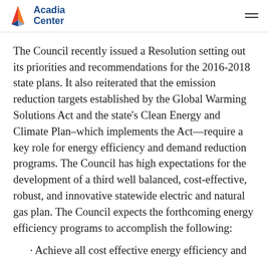Acadia Center
The Council recently issued a Resolution setting out its priorities and recommendations for the 2016-2018 state plans. It also reiterated that the emission reduction targets established by the Global Warming Solutions Act and the state's Clean Energy and Climate Plan–which implements the Act—require a key role for energy efficiency and demand reduction programs. The Council has high expectations for the development of a third well balanced, cost-effective, robust, and innovative statewide electric and natural gas plan. The Council expects the forthcoming energy efficiency programs to accomplish the following:
Achieve all cost effective energy efficiency and